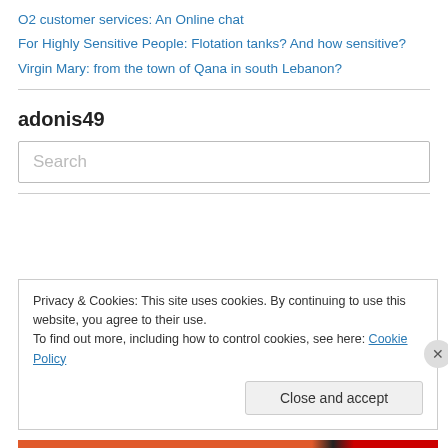O2 customer services: An Online chat
For Highly Sensitive People: Flotation tanks? And how sensitive?
Virgin Mary: from the town of Qana in south Lebanon?
adonis49
Search
Privacy & Cookies: This site uses cookies. By continuing to use this website, you agree to their use.
To find out more, including how to control cookies, see here: Cookie Policy
Close and accept